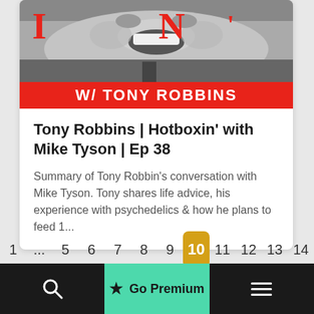[Figure (screenshot): Grayscale photo of Tony Robbins smiling/laughing, with large red letters I, N and apostrophe overlaid. Red banner at bottom partially showing 'W/ TONY ROBBINS' text.]
Tony Robbins | Hotboxin' with Mike Tyson | Ep 38
Summary of Tony Robbin's conversation with Mike Tyson. Tony shares life advice, his experience with psychedelics & how he plans to feed 1...
1 ... 5 6 7 8 9 10 11 12 13 14
★ Go Premium